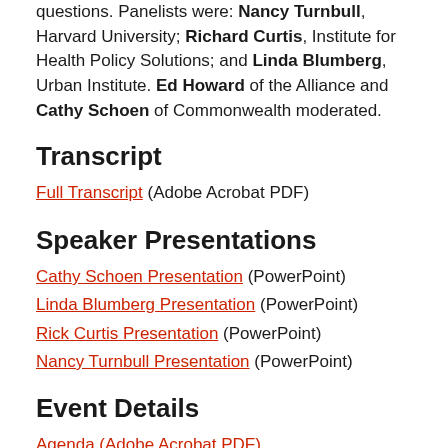questions. Panelists were: Nancy Turnbull, Harvard University; Richard Curtis, Institute for Health Policy Solutions; and Linda Blumberg, Urban Institute. Ed Howard of the Alliance and Cathy Schoen of Commonwealth moderated.
Transcript
Full Transcript (Adobe Acrobat PDF)
Speaker Presentations
Cathy Schoen Presentation (PowerPoint)
Linda Blumberg Presentation (PowerPoint)
Rick Curtis Presentation (PowerPoint)
Nancy Turnbull Presentation (PowerPoint)
Event Details
Agenda (Adobe Acrobat PDF)